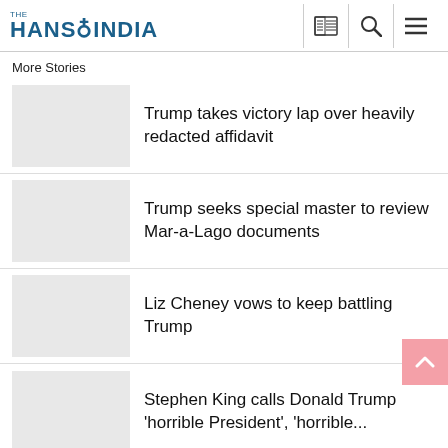THE HANS INDIA
More Stories
Trump takes victory lap over heavily redacted affidavit
Trump seeks special master to review Mar-a-Lago documents
Liz Cheney vows to keep battling Trump
Stephen King calls Donald Trump 'horrible President', 'horrible...